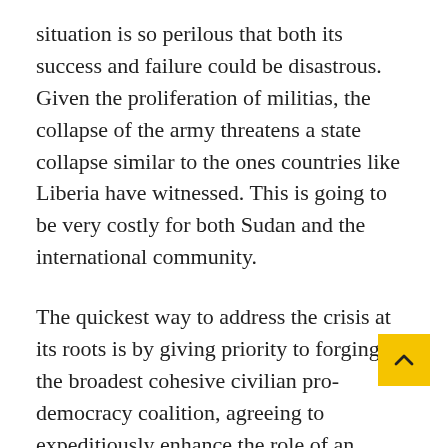situation is so perilous that both its success and failure could be disastrous. Given the proliferation of militias, the collapse of the army threatens a state collapse similar to the ones countries like Liberia have witnessed. This is going to be very costly for both Sudan and the international community.
The quickest way to address the crisis at its roots is by giving priority to forging the broadest cohesive civilian pro-democracy coalition, agreeing to expeditiously enhance the role of an independent judiciary, accelerating the preparation for elections and perhaps holding them early, and negotiating an exit policy for the military. The participation of the army in politics will not be necessary if the civilians